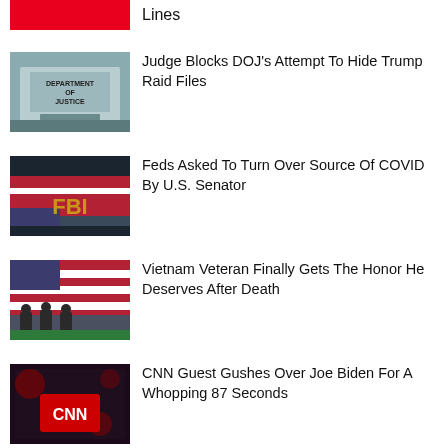[Figure (photo): Red block thumbnail (partial, top of page)]
Lines
[Figure (photo): Department of Justice building sign]
Judge Blocks DOJ's Attempt To Hide Trump Raid Files
[Figure (photo): FBI golden letters with American flag]
Feds Asked To Turn Over Source Of COVID By U.S. Senator
[Figure (photo): People standing before large American flag]
Vietnam Veteran Finally Gets The Honor He Deserves After Death
[Figure (photo): CNN logo on a red sign with dark background]
CNN Guest Gushes Over Joe Biden For A Whopping 87 Seconds